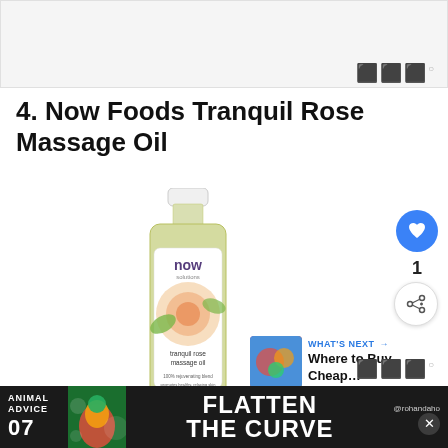[Figure (other): Top advertisement banner placeholder with light gray background]
4. Now Foods Tranquil Rose Massage Oil
[Figure (photo): Product photo of Now Foods Tranquil Rose Massage Oil bottle with a rose on the label, yellow-green oil color, white cap]
[Figure (infographic): WHAT'S NEXT arrow panel with thumbnail and text 'Where to Buy Cheap...']
[Figure (other): Bottom advertisement banner: ANIMAL ADVICE 07 FLATTEN THE CURVE @rohandaho with close button and colorful parrot image]